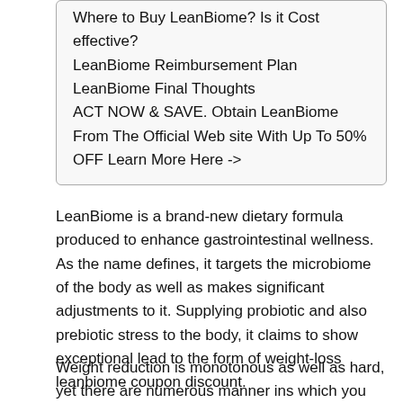Where to Buy LeanBiome? Is it Cost effective?
LeanBiome Reimbursement Plan
LeanBiome Final Thoughts
ACT NOW & SAVE. Obtain LeanBiome From The Official Web site With Up To 50% OFF Learn More Here ->
LeanBiome is a brand-new dietary formula produced to enhance gastrointestinal wellness. As the name defines, it targets the microbiome of the body as well as makes significant adjustments to it. Supplying probiotic and also prebiotic stress to the body, it claims to show exceptional lead to the form of weight-loss leanbiome coupon discount.
Weight reduction is monotonous as well as hard, yet there are numerous manner ins which you can